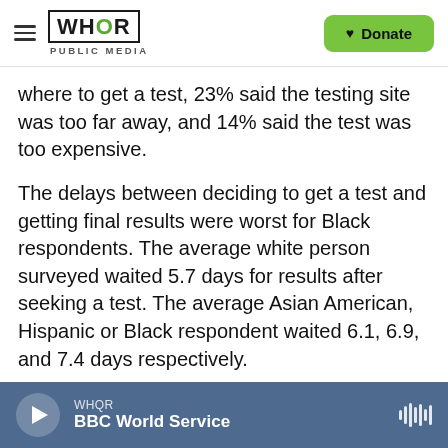WHQR PUBLIC MEDIA — Donate
where to get a test, 23% said the testing site was too far away, and 14% said the test was too expensive.
The delays between deciding to get a test and getting final results were worst for Black respondents. The average white person surveyed waited 5.7 days for results after seeking a test. The average Asian American, Hispanic or Black respondent waited 6.1, 6.9, and 7.4 days respectively.
Copyright 2021 NPR. To see more, visit
WHQR — BBC World Service